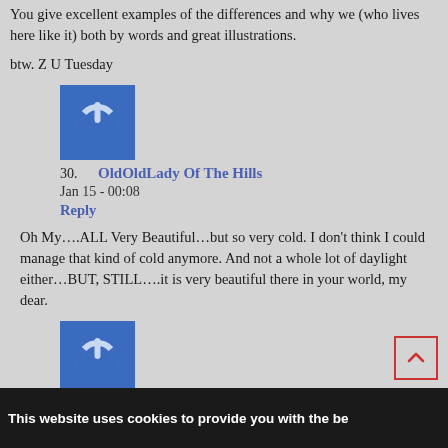You give excellent examples of the differences and why we (who lives here like it) both by words and great illustrations.
btw. Z U Tuesday
[Figure (logo): Blue square avatar icon with white power button symbol]
30. OldOldLady Of The Hills
Jan 15 - 00:08
Reply
Oh My....ALL Very Beautiful...but so very cold. I don't think I could manage that kind of cold anymore. And not a whole lot of daylight either...BUT, STILL....it is very beautiful there in your world, my dear.
[Figure (logo): Blue square avatar icon with white power button symbol]
31. Puss in Boots
Jan 15 - 09:02
This website uses cookies to provide you with the be